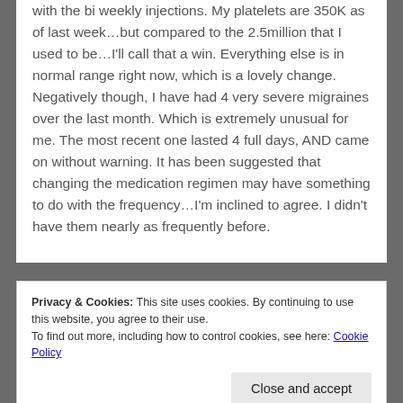with the bi weekly injections. My platelets are 350K as of last week…but compared to the 2.5million that I used to be…I'll call that a win. Everything else is in normal range right now, which is a lovely change. Negatively though, I have had 4 very severe migraines over the last month. Which is extremely unusual for me. The most recent one lasted 4 full days, AND came on without warning. It has been suggested that changing the medication regimen may have something to do with the frequency…I'm inclined to agree. I didn't have them nearly as frequently before.
Privacy & Cookies: This site uses cookies. By continuing to use this website, you agree to their use. To find out more, including how to control cookies, see here: Cookie Policy